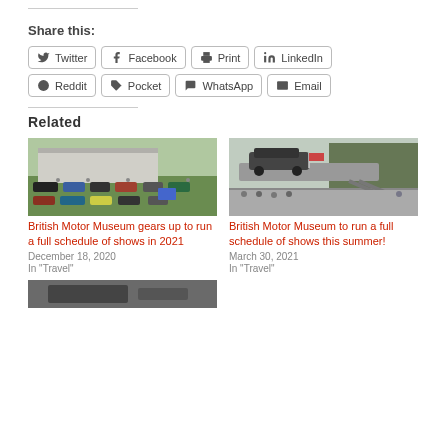Share this:
Twitter
Facebook
Print
LinkedIn
Reddit
Pocket
WhatsApp
Email
Related
[Figure (photo): Aerial view of a classic car show at British Motor Museum with many cars parked in rows on a green field]
British Motor Museum gears up to run a full schedule of shows in 2021
December 18, 2020
In "Travel"
[Figure (photo): Classic Land Rover being loaded onto a transporter trailer at an outdoor show event]
British Motor Museum to run a full schedule of shows this summer!
March 30, 2021
In "Travel"
[Figure (photo): Another related article image at the bottom, partially visible]